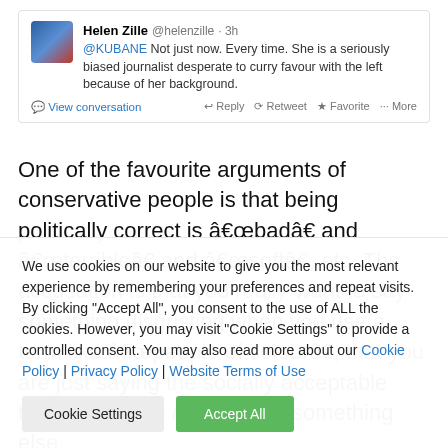[Figure (screenshot): Screenshot of a tweet by Helen Zille (@helenzille) posted 3h ago: '@KUBANE Not just now. Every time. She is a seriously biased journalist desperate to curry favour with the left because of her background.' With options: View conversation, Reply, Retweet, Favorite, More.]
One of the favourite arguments of conservative people is that being politically correct is “bad” and “terrible” and “soft”, etc. The accusation is that you really want to say something disgusting when you use a term like “people of colour”, that you are just saying the socially acceptable thing when you really mean something else
We use cookies on our website to give you the most relevant experience by remembering your preferences and repeat visits. By clicking “Accept All”, you consent to the use of ALL the cookies. However, you may visit “Cookie Settings” to provide a controlled consent. You may also read more about our Cookie Policy | Privacy Policy | Website Terms of Use